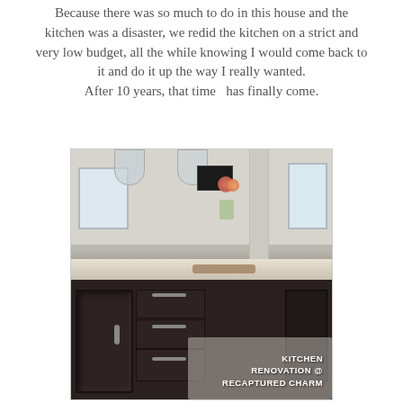Because there was so much to do in this house and the kitchen was a disaster, we redid the kitchen on a strict and very low budget, all the while knowing I would come back to it and do it up the way I really wanted. After 10 years, that time  has finally come.
[Figure (photo): Photo of a renovated kitchen island with dark wood cabinets, granite countertop, pendant lights, flowers in a vase, and text overlay reading 'KITCHEN RENOVATION @ RECAPTURED CHARM']